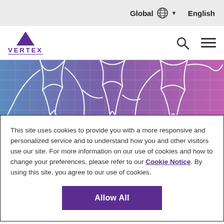Global  English
[Figure (logo): Vertex Pharmaceuticals logo with purple triangle and VERTEX text]
[Figure (illustration): Abstract blue-to-purple gradient background with white line art depicting human figures/body silhouettes on a grid pattern]
This site uses cookies to provide you with a more responsive and personalized service and to understand how you and other visitors use our site. For more information on our use of cookies and how to change your preferences, please refer to our Cookie Notice. By using this site, you agree to our use of cookies.
Allow All